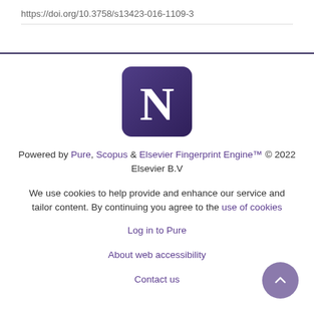https://doi.org/10.3758/s13423-016-1109-3
[Figure (logo): Northwestern University 'N' logo — white serif N on dark purple rounded-rectangle background]
Powered by Pure, Scopus & Elsevier Fingerprint Engine™ © 2022 Elsevier B.V
We use cookies to help provide and enhance our service and tailor content. By continuing you agree to the use of cookies
Log in to Pure
About web accessibility
Contact us